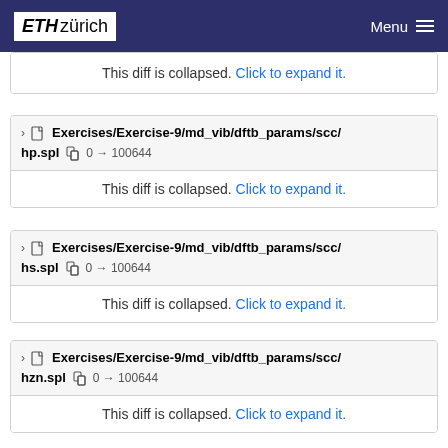ETH zürich  Menu
This diff is collapsed. Click to expand it.
Exercises/Exercise-9/md_vib/dftb_params/scc/hp.spl  0 → 100644
This diff is collapsed. Click to expand it.
Exercises/Exercise-9/md_vib/dftb_params/scc/hs.spl  0 → 100644
This diff is collapsed. Click to expand it.
Exercises/Exercise-9/md_vib/dftb_params/scc/hzn.spl  0 → 100644
This diff is collapsed. Click to expand it.